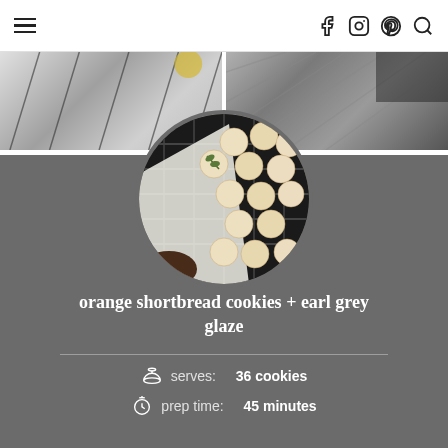Navigation header with hamburger menu and social icons (Facebook, Instagram, Pinterest, Search)
[Figure (photo): Two side-by-side cropped food/baking photos showing a wire cooling rack with baked goods on grey background]
[Figure (photo): Circular cropped photo of small round shortbread cookies on a dark wire cooling rack, viewed from above]
orange shortbread cookies + earl grey glaze
serves: 36 cookies
prep time: 45 minutes